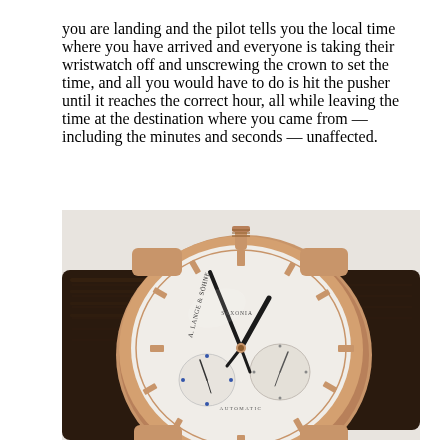you are landing and the pilot tells you the local time where you have arrived and everyone is taking their wristwatch off and unscrewing the crown to set the time, and all you would have to do is hit the pusher until it reaches the correct hour, all while leaving the time at the destination where you came from — including the minutes and seconds — unaffected.
[Figure (photo): Close-up photograph of an A. Lange & Söhne luxury wristwatch with a rose gold case, silver dial with two subsidiary dials, gold-toned hands and hour markers, and a dark brown alligator leather strap. The watch is shown at an angle on a light surface.]